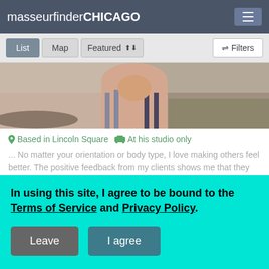masseurfinder CHICAGO
List  Map  Featured  Filters
[Figure (photo): Partial photo of a person's torso/neck area outdoors]
Based in Lincoln Square  At his studio only
... No matter your orientation or body type, I love making others feel better. The positive feedback from my clients shows me that they love it too. ...
Sports Recovery by Maximo
Deep Tissue, Shiatsu, Sports & 4 more · $80 & up
In using this site, I agree to be bound to the Terms of Service and Privacy Policy.
Leave  I agree